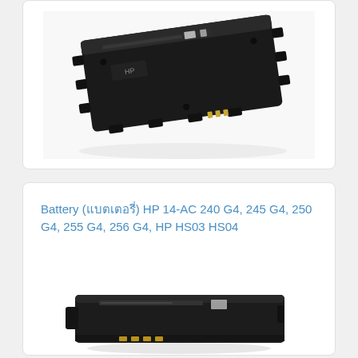[Figure (photo): Top portion of a laptop battery pack (black, rectangular with mounting clips), shown at a slight angle. Product is cropped at the top of the card.]
Battery (แบตเตอรี่) HP 14-AC 240 G4, 245 G4, 250 G4, 255 G4, 256 G4, HP HS03 HS04
[Figure (photo): HP laptop battery pack (black, slim rectangular form), shown from the front/side, partially visible at the bottom of the card.]